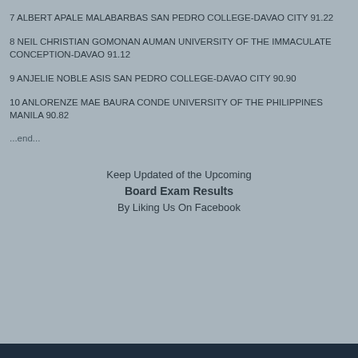7 ALBERT APALE MALABARBAS SAN PEDRO COLLEGE-DAVAO CITY 91.22
8 NEIL CHRISTIAN GOMONAN AUMAN UNIVERSITY OF THE IMMACULATE CONCEPTION-DAVAO 91.12
9 ANJELIE NOBLE ASIS SAN PEDRO COLLEGE-DAVAO CITY 90.90
10 ANLORENZE MAE BAURA CONDE UNIVERSITY OF THE PHILIPPINES MANILA 90.82
...end...
Keep Updated of the Upcoming Board Exam Results By Liking Us On Facebook